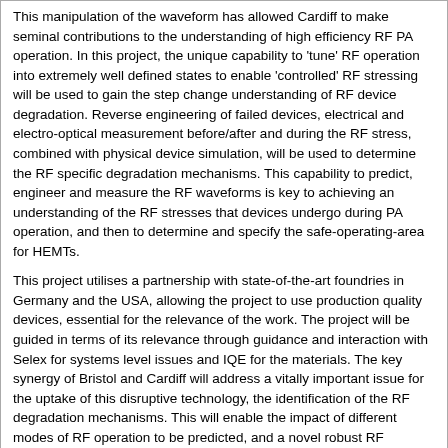This manipulation of the waveform has allowed Cardiff to make seminal contributions to the understanding of high efficiency RF PA operation. In this project, the unique capability to 'tune' RF operation into extremely well defined states to enable 'controlled' RF stressing will be used to gain the step change understanding of RF device degradation. Reverse engineering of failed devices, electrical and electro-optical measurement before/after and during the RF stress, combined with physical device simulation, will be used to determine the RF specific degradation mechanisms. This capability to predict, engineer and measure the RF waveforms is key to achieving an understanding of the RF stresses that devices undergo during PA operation, and then to determine and specify the safe-operating-area for HEMTs.

This project utilises a partnership with state-of-the-art foundries in Germany and the USA, allowing the project to use production quality devices, essential for the relevance of the work. The project will be guided in terms of its relevance through guidance and interaction with Selex for systems level issues and IQE for the materials. The key synergy of Bristol and Cardiff will address a vitally important issue for the uptake of this disruptive technology, the identification of the RF degradation mechanisms. This will enable the impact of different modes of RF operation to be predicted, and a novel robust RF reliability test methodology to be developed, thus delivering large UK benefit and international impact.
Key Findings
This information can now be found on Gateway to Research (GtR) http://gtr.rcuk.ac.uk
Potential exploitation and dissemination